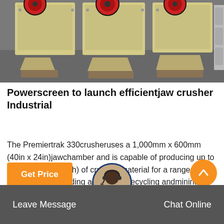[Figure (photo): Industrial jaw crushers (yellowish-beige metal machines with red wheels) lined up in a warehouse/factory setting on a concrete floor]
Powerscreen to launch efficientjaw crusher Industrial
The Premiertrak 330crusheruses a 1,000mm x 600mm (40in x 24in)jawchamber and is capable of producing up to 280tph (308 US tph) of crushed material for a range of applications, including aggregate, recycling andmining. Thecrusheralso comes with the…
Get Price
Leave Message
Chat Online